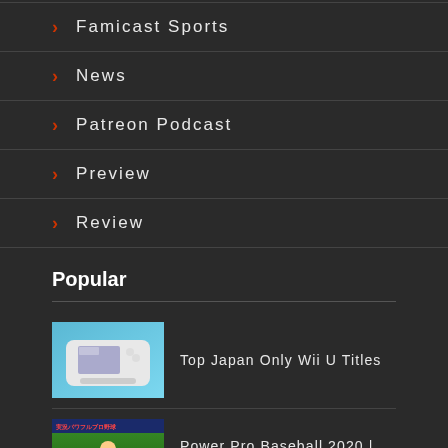Famicast Sports
News
Patreon Podcast
Preview
Review
Popular
[Figure (photo): Wii U console and gamepad on blue background]
Top Japan Only Wii U Titles
[Figure (photo): Power Pro Baseball 2020 game cover with baseball player on green field]
Power Pro Baseball 2020 | English Guides | Switch